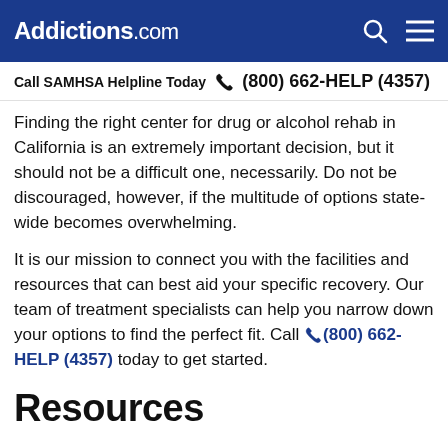Addictions.com
Call SAMHSA Helpline Today  (800) 662-HELP (4357)
Finding the right center for drug or alcohol rehab in California is an extremely important decision, but it should not be a difficult one, necessarily. Do not be discouraged, however, if the multitude of options state-wide becomes overwhelming.
It is our mission to connect you with the facilities and resources that can best aid your specific recovery. Our team of treatment specialists can help you narrow down your options to find the perfect fit. Call (800) 662-HELP (4357) today to get started.
Resources